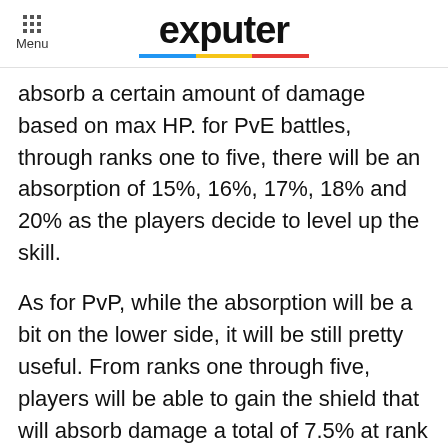Menu | exputer
absorb a certain amount of damage based on max HP. for PvE battles, through ranks one to five, there will be an absorption of 15%, 16%, 17%, 18% and 20% as the players decide to level up the skill.
As for PvP, while the absorption will be a bit on the lower side, it will be still pretty useful. From ranks one through five, players will be able to gain the shield that will absorb damage a total of 7.5% at rank one, 8.0% at rank two, 8.5% at rank three, 9.0% at rank 4, and finally 10.0% at rank 5.